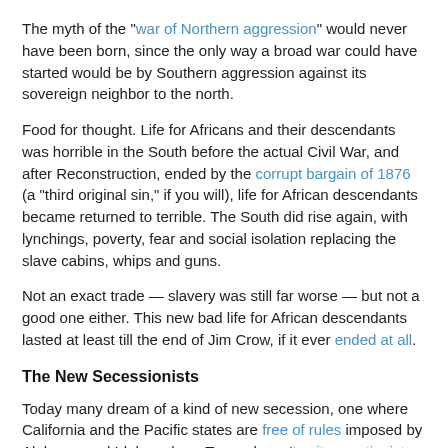The myth of the "war of Northern aggression" would never have been born, since the only way a broad war could have started would be by Southern aggression against its sovereign neighbor to the north.
Food for thought. Life for Africans and their descendants was horrible in the South before the actual Civil War, and after Reconstruction, ended by the corrupt bargain of 1876 (a "third original sin," if you will), life for African descendants became returned to terrible. The South did rise again, with lynchings, poverty, fear and social isolation replacing the slave cabins, whips and guns.
Not an exact trade — slavery was still far worse — but not a good one either. This new bad life for African descendants lasted at least till the end of Jim Crow, if it ever ended at all.
The New Secessionists
Today many dream of a kind of new secession, one where California and the Pacific states are free of rules imposed by Alabama and Idaho; where Texas doesn't write creationist